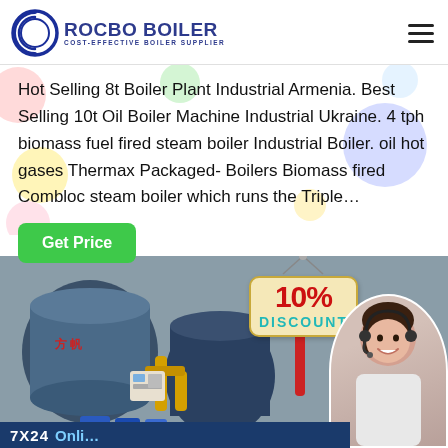[Figure (logo): Rocbo Boiler logo with circular icon and text 'ROCBO BOILER - COST-EFFECTIVE BOILER SUPPLIER' in blue]
Hot Selling 8t Boiler Plant Industrial Armenia. Best Selling 10t Oil Boiler Machine Industrial Ukraine. 4 tph biomass fuel fired steam boiler Industrial Boiler. oil hot gases Thermax Packaged- Boilers Biomass fired Combloc steam boiler which runs the Triple…
[Figure (other): Green 'Get Price' button with decorative colored circles in background]
[Figure (photo): Industrial boiler plant facility with large cylindrical blue boiler, yellow pipes, control panels, and a customer service agent photo overlay. 10% DISCOUNT badge shown. Bottom bar shows '7X24 Online' text.]